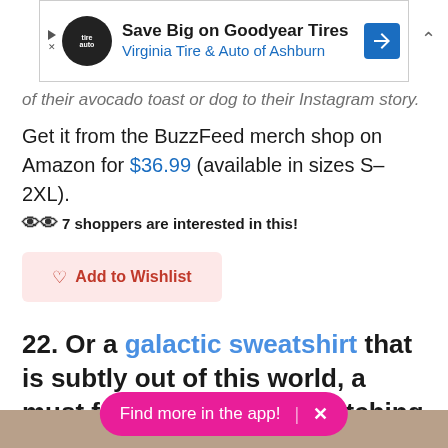[Figure (screenshot): Advertisement banner: Save Big on Goodyear Tires, Virginia Tire & Auto of Ashburn, with logo and blue arrow sign icon]
of their avocado toast or dog to their Instagram story.
Get it from the BuzzFeed merch shop on Amazon for $36.99 (available in sizes S–2XL).
👁👁 7 shoppers are interested in this!
♡ Add to Wishlist
22. Or a galactic sweatshirt that is subtly out of this world, a must for wearing while watching SpaceX's rocket launches at random night.
[Figure (other): Find more in the app! pill button with close X]
[Figure (photo): Bottom portion of product image, partially visible]